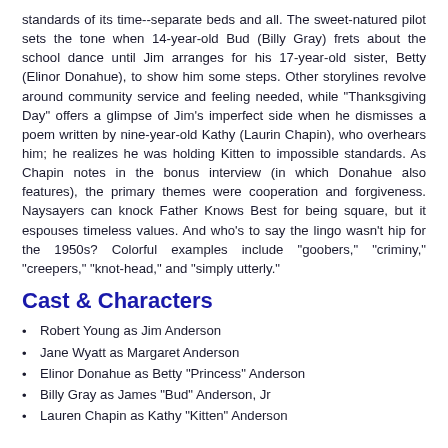standards of its time--separate beds and all. The sweet-natured pilot sets the tone when 14-year-old Bud (Billy Gray) frets about the school dance until Jim arranges for his 17-year-old sister, Betty (Elinor Donahue), to show him some steps. Other storylines revolve around community service and feeling needed, while 'Thanksgiving Day' offers a glimpse of Jim's imperfect side when he dismisses a poem written by nine-year-old Kathy (Laurin Chapin), who overhears him; he realizes he was holding Kitten to impossible standards. As Chapin notes in the bonus interview (in which Donahue also features), the primary themes were cooperation and forgiveness. Naysayers can knock Father Knows Best for being square, but it espouses timeless values. And who's to say the lingo wasn't hip for the 1950s? Colorful examples include "goobers," "criminy," "creepers," "knot-head," and "simply utterly."
Cast & Characters
Robert Young as Jim Anderson
Jane Wyatt as Margaret Anderson
Elinor Donahue as Betty "Princess" Anderson
Billy Gray as James "Bud" Anderson, Jr
Lauren Chapin as Kathy "Kitten" Anderson